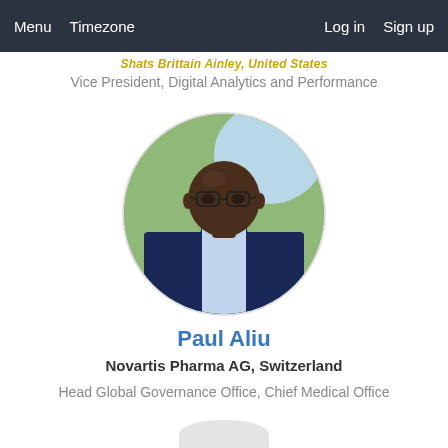Menu  Timezone  Log in  Sign up
Vice President, Digital Analytics and Performance
[Figure (photo): Circular profile photo of Paul Aliu, a man wearing glasses and a dark suit jacket with a light blue shirt, with green foliage in the background]
Paul Aliu
Novartis Pharma AG, Switzerland
Head Global Governance Office, Chief Medical Office